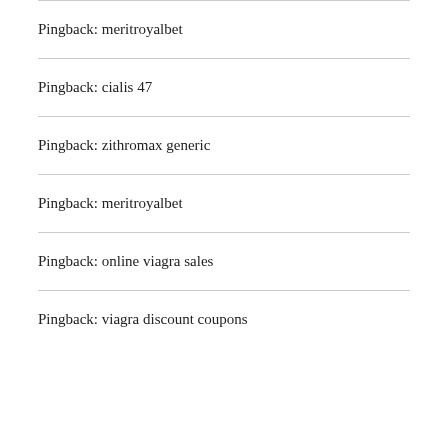Pingback: meritroyalbet
Pingback: cialis 47
Pingback: zithromax generic
Pingback: meritroyalbet
Pingback: online viagra sales
Pingback: viagra discount coupons